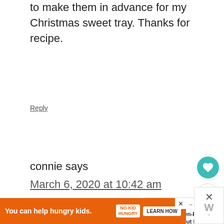to make them in advance for my Christmas sweet tray. Thanks for recipe.
Reply
connie says
March 6, 2020 at 10:42 am
can you use an GF flour blo instead of the brown rice flour
[Figure (infographic): WHAT'S NEXT widget showing Gluten-Free Peanut Butt... with food image]
[Figure (infographic): Ad banner: You can help hungry kids. NO KID HUNGRY LEARN HOW with close button]
[Figure (infographic): Right side widget with X close button and weather W degree symbol]